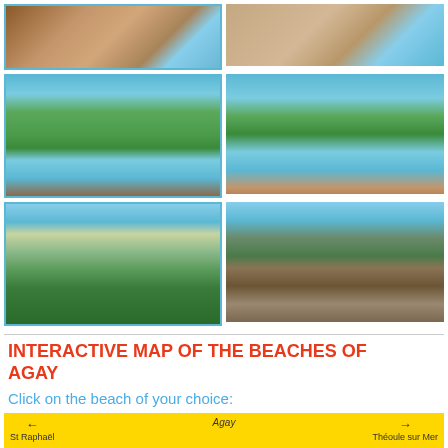[Figure (photo): Top-left beach photo showing reddish rock cliffs and sandy beach with gentle waves, blue sea, viewed from above]
[Figure (photo): Top-right beach photo showing sandy beach with calm shallow water and gentle waves]
[Figure (photo): Middle-left coastal photo showing curved sandy beach with treeline, cypress trees, and calm blue water]
[Figure (photo): Middle-right coastal photo showing bay with harbour, walkway along shoreline, trees and boats in background]
[Figure (photo): Bottom-left park photo showing green lawn with trees, natural park setting in Agay]
[Figure (photo): Bottom-right photo showing entrance gate to campsite with sign, trees in background, wooden fence gate]
INTERACTIVE MAP OF THE BEACHES OF AGAY
Click on the beach of your choice:
[Figure (map): Yellow interactive map bar showing directions: arrow left to St Raphaël, arrow right to Théoule sur Mer, with Agay label in center]